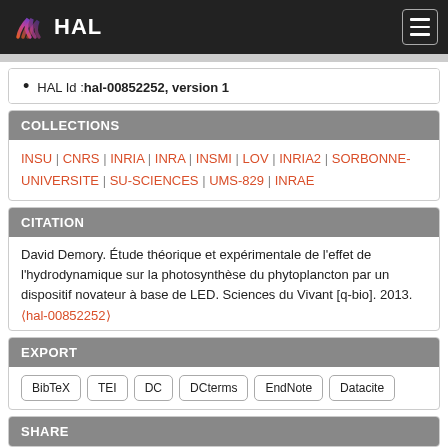HAL
HAL Id : hal-00852252, version 1
COLLECTIONS
INSU | CNRS | INRIA | INRA | INSMI | LOV | INRIA2 | SORBONNE-UNIVERSITE | SU-SCIENCES | UMS-829 | INRAE
CITATION
David Demory. Étude théorique et expérimentale de l'effet de l'hydrodynamique sur la photosynthèse du phytoplancton par un dispositif novateur à base de LED. Sciences du Vivant [q-bio]. 2013. (hal-00852252)
EXPORT
BibTeX  TEI  DC  DCterms  EndNote  Datacite
SHARE